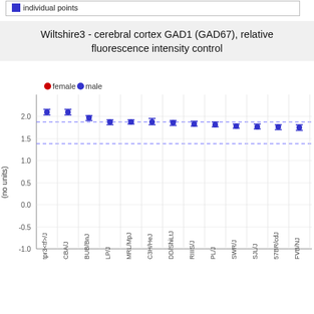[Figure (continuous-plot): Legend box at top showing red dot = female, blue dot = male with 'individual points' label and a blue square indicator.]
Wiltshire3 - cerebral cortex GAD1 (GAD67), relative fluorescence intensity control
[Figure (scatter-plot): Scatter/error-bar plot showing mean values with error bars for multiple mouse strains. Y-axis labeled '(no units)', ranging from -1.0 to ~2.5. X-axis shows strains: tpr3<tf>/J, CBA/J, BUB/BnJ, LP/J, MRL/MpJ, C3H/HeJ, DD/ShiLtJ, RIIIS/J, PL/J, SWR/J, SJL/J, 57BR/cdJ, FVB/NJ. Blue data points (male) with error bars. Two horizontal dashed blue lines at approximately y=1.88 and y=1.38. Values cluster around 1.75-2.1.]